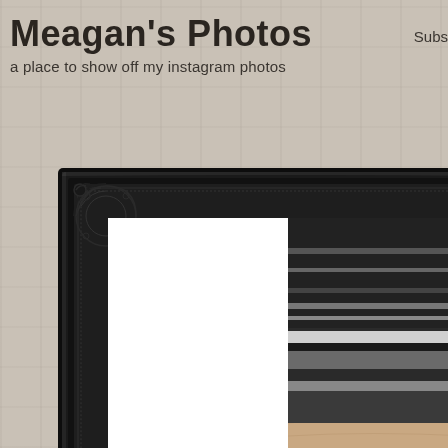Meagan's Photos
a place to show off my instagram photos
Subs
[Figure (photo): A person wearing a striped knit winter hat (beanie) in shades of black, grey, and white, shown in close-up selfie style. The person's forehead and eyes are visible. Background shows bare winter trees with snow. The photo is displayed inside a large black ornate picture frame with a white matte, set against a stone/concrete textured background.]